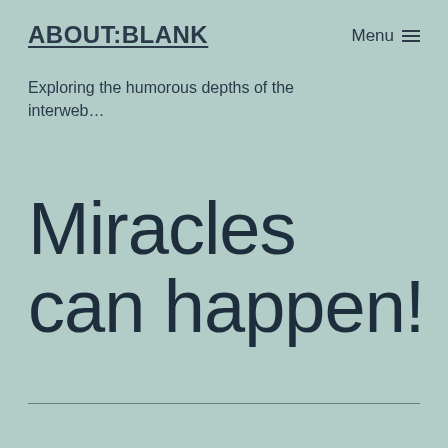ABOUT:BLANK
Menu ☰
Exploring the humorous depths of the interweb…
Miracles can happen!